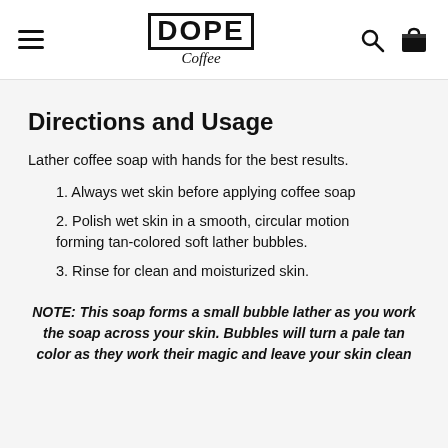DOPE Coffee — navigation bar with hamburger menu, logo, search and cart icons
Directions and Usage
Lather coffee soap with hands for the best results.
1. Always wet skin before applying coffee soap
2. Polish wet skin in a smooth, circular motion forming tan-colored soft lather bubbles.
3. Rinse for clean and moisturized skin.
NOTE: This soap forms a small bubble lather as you work the soap across your skin. Bubbles will turn a pale tan color as they work their magic and leave your skin clean